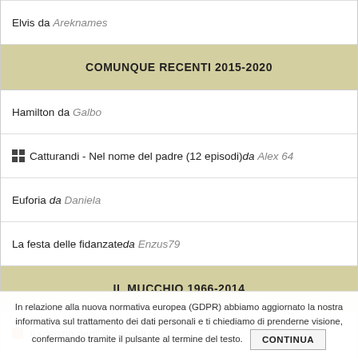Elvis da Areknames
COMUNQUE RECENTI 2015-2020
Hamilton da Galbo
Catturandi - Nel nome del padre (12 episodi) da Alex 64
Euforia da Daniela
La festa delle fidanzate da Enzus79
IL MUCCHIO 1966-2014
Il silenzio degli innocenti da Fabry1976
Good bye Lenin! da Noodles
Arma letale da Myvincent
La notte dell'ultimo giorno da Keyser3
In relazione alla nuova normativa europea (GDPR) abbiamo aggiornato la nostra informativa sul trattamento dei dati personali e ti chiediamo di prenderne visione, confermando tramite il pulsante al termine del testo. CONTINUA